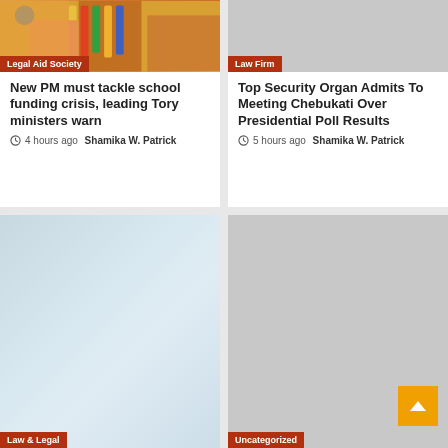[Figure (photo): Photo of pencils/pens in a red holder on a yellow background with a hand]
Legal Aid Society
[Figure (photo): Gray placeholder image for Law Firm article]
Law Firm
New PM must tackle school funding crisis, leading Tory ministers warn
4 hours ago  Shamika W. Patrick
Top Security Organ Admits To Meeting Chebukati Over Presidential Poll Results
5 hours ago  Shamika W. Patrick
[Figure (photo): Blurred blue-gray gradient image for Law & Legal article]
Law & Legal
[Figure (photo): Gray placeholder image for Uncategorized article with orange scroll-to-top button]
Uncategorized